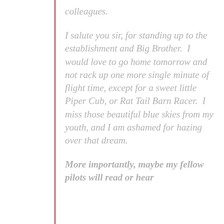colleagues.
I salute you sir, for standing up to the establishment and Big Brother. I would love to go home tomorrow and not rack up one more single minute of flight time, except for a sweet little Piper Cub, or Rat Tail Barn Racer. I miss those beautiful blue skies from my youth, and I am ashamed for hazing over that dream.
More importantly, maybe my fellow pilots will read or hear